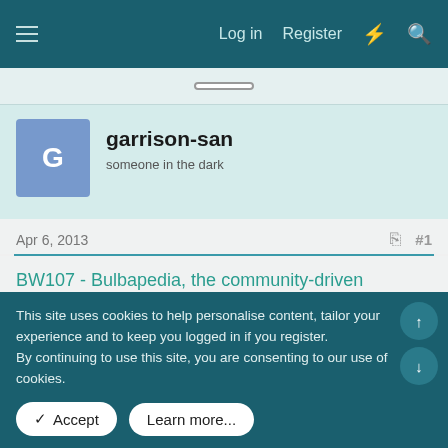Log in  Register
garrison-san
someone in the dark
Apr 6, 2013  #1
BW107 - Bulbapedia, the community-driven Pokémon encyclopedia
The Unova League continues, and Ash finds himself up against his scatter-brained (to put it lightly) rival Cameron.
Please remember our rule regarding spoilers in the dub review
This site uses cookies to help personalise content, tailor your experience and to keep you logged in if you register.
By continuing to use this site, you are consenting to our use of cookies.